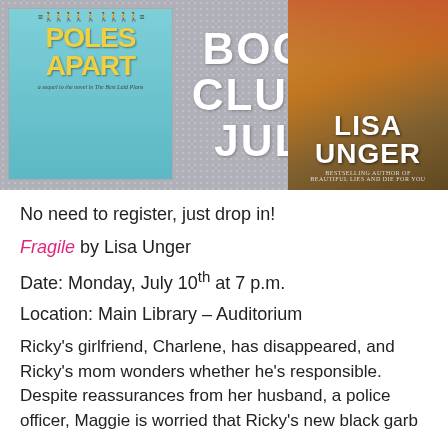[Figure (illustration): Banner with two book covers and center text reading BOOK CLUBS JULY. Left book cover: 'Poles Apart' with teal background and silhouettes. Right book cover: Lisa Unger book with autumn outdoor photo background.]
No need to register, just drop in!
Fragile by Lisa Unger
Date: Monday, July 10th at 7 p.m.
Location: Main Library – Auditorium
Ricky's girlfriend, Charlene, has disappeared, and Ricky's mom wonders whether he's responsible. Despite reassurances from her husband, a police officer, Maggie is worried that Ricky's new black garb